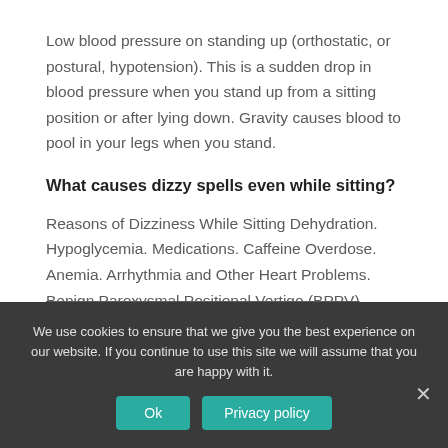Low blood pressure on standing up (orthostatic, or postural, hypotension). This is a sudden drop in blood pressure when you stand up from a sitting position or after lying down. Gravity causes blood to pool in your legs when you stand.
What causes dizzy spells even while sitting?
Reasons of Dizziness While Sitting Dehydration. Hypoglycemia. Medications. Caffeine Overdose. Anemia. Arrhythmia and Other Heart Problems. Benign Paroxysmal Positional Vertigo (BPPV).
We use cookies to ensure that we give you the best experience on our website. If you continue to use this site we will assume that you are happy with it.